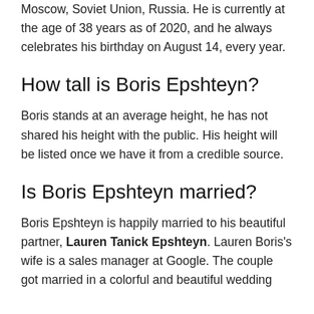Moscow, Soviet Union, Russia. He is currently at the age of 38 years as of 2020, and he always celebrates his birthday on August 14, every year.
How tall is Boris Epshteyn?
Boris stands at an average height, he has not shared his height with the public. His height will be listed once we have it from a credible source.
Is Boris Epshteyn married?
Boris Epshteyn is happily married to his beautiful partner, Lauren Tanick Epshteyn. Lauren Boris's wife is a sales manager at Google. The couple got married in a colorful and beautiful wedding